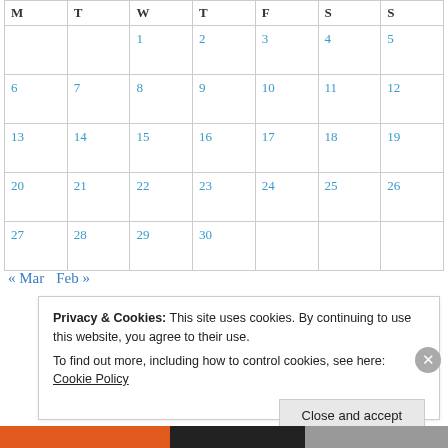| M | T | W | T | F | S | S |
| --- | --- | --- | --- | --- | --- | --- |
|  |  | 1 | 2 | 3 | 4 | 5 |
| 6 | 7 | 8 | 9 | 10 | 11 | 12 |
| 13 | 14 | 15 | 16 | 17 | 18 | 19 |
| 20 | 21 | 22 | 23 | 24 | 25 | 26 |
| 27 | 28 | 29 | 30 |  |  |  |
« Mar   Feb »
Privacy & Cookies: This site uses cookies. By continuing to use this website, you agree to their use. To find out more, including how to control cookies, see here: Cookie Policy
Close and accept